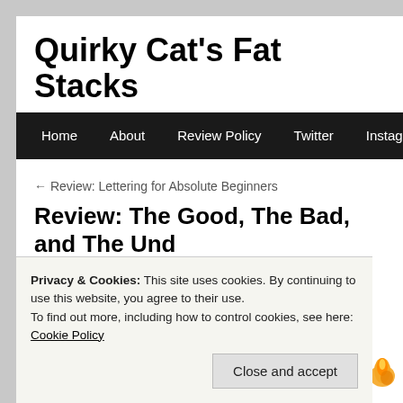Quirky Cat's Fat Stacks
Home  About  Review Policy  Twitter  Instagram  Facebook
← Review: Lettering for Absolute Beginners
Review: The Good, The Bad, and The Und…
Posted on December 27, 2019 by Liz (AKA Cat)
[Figure (photo): Book cover on dark background with orange text 'AUTHOR OF' and subtitle text below]
Author: Kim H…
Series: The H…
la…
n…
w…
Privacy & Cookies: This site uses cookies. By continuing to use this website, you agree to their use.
To find out more, including how to control cookies, see here: Cookie Policy
Close and accept